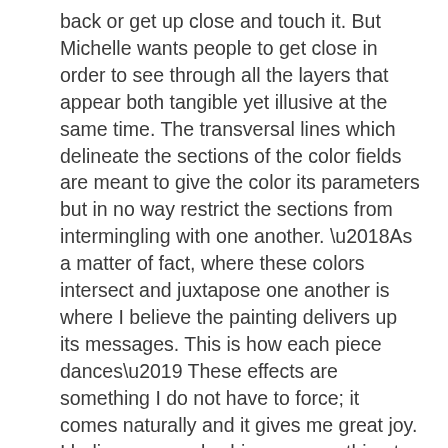back or get up close and touch it. But Michelle wants people to get close in order to see through all the layers that appear both tangible yet illusive at the same time. The transversal lines which delineate the sections of the color fields are meant to give the color its parameters but in no way restrict the sections from intermingling with one another. ‘As a matter of fact, where these colors intersect and juxtapose one another is where I believe the painting delivers up its messages. This is how each piece dances’ These effects are something I do not have to force; it comes naturally and it gives me great joy. I believe my work whispers something to each viewer, something just for them.